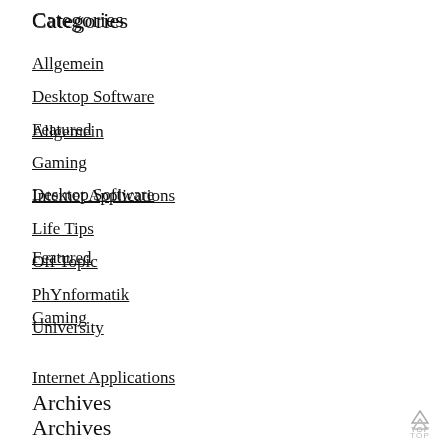Categories
Allgemein
Desktop Software
Featured
Gaming
Internet Applications
Life Tips
Off Topic
PhYnformatik
University
Archives